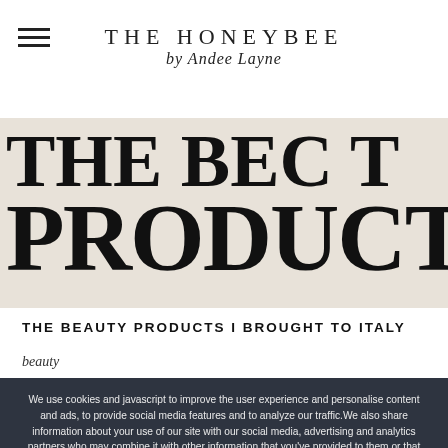THE HONEYBEE by Andee Layne
[Figure (other): Large decorative typographic hero image with text 'THE BEAUTY PRODUCTS' on a beige/cream background in oversized serif font]
THE BEAUTY PRODUCTS I BROUGHT TO ITALY
beauty
We use cookies and javascript to improve the user experience and personalise content and ads, to provide social media features and to analyze our traffic.We also share information about your use of our site with our social media, advertising and analytics partners who may combine it with other information that you've provided to them or that they've collected from your use of their services. If you disagree, please, press BACK on your browser.